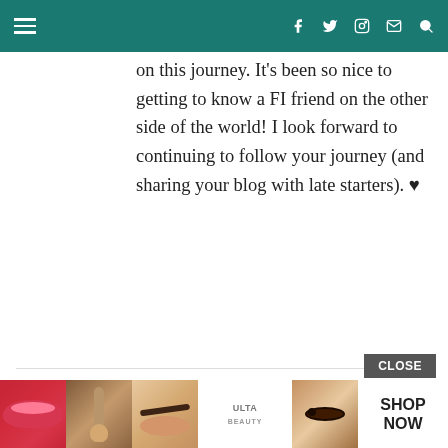myfinancialshape.com header navigation
on this journey. It's been so nice to getting to know a FI friend on the other side of the world! I look forward to continuing to follow your journey (and sharing your blog with late starters). ♥
MYFINANCIALSHAPE
Reply
October 20, 2021 at 12:03 pm
Fantastic! Congrats and so great to read you continue your blog. Thanks for sharing you inspiring path!
CLOSE
[Figure (photo): Advertisement banner showing Ulta Beauty ad with close-up images of lips with makeup, makeup brush, eyebrows, Ulta Beauty logo, and eye makeup, with SHOP NOW text]